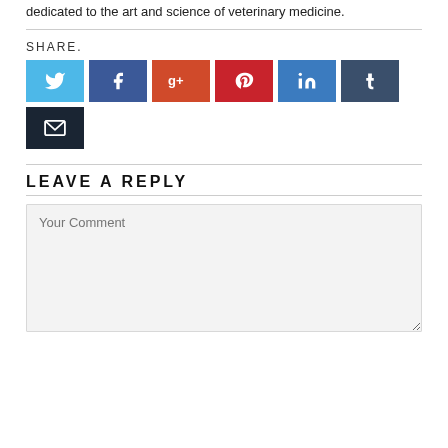dedicated to the art and science of veterinary medicine.
SHARE.
[Figure (infographic): Social sharing buttons: Twitter (blue), Facebook (dark blue), Google+ (orange-red), Pinterest (red), LinkedIn (blue), Tumblr (dark blue-grey), Email (dark navy)]
LEAVE A REPLY
Your Comment